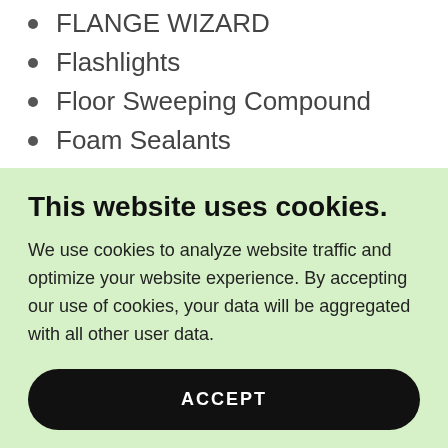FLANGE WIZARD
Flashlights
Floor Sweeping Compound
Foam Sealants
FREUD
GARDNER BENDER
GARLAND MFG
This website uses cookies.
We use cookies to analyze website traffic and optimize your website experience. By accepting our use of cookies, your data will be aggregated with all other user data.
ACCEPT